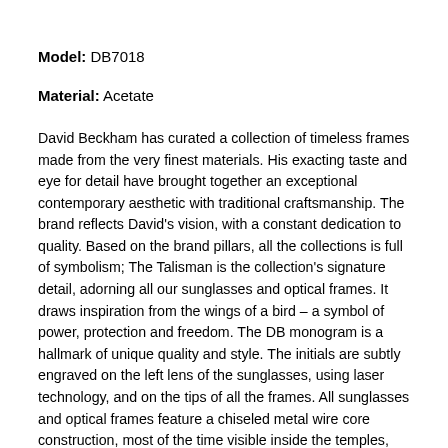Model: DB7018
Material: Acetate
David Beckham has curated a collection of timeless frames made from the very finest materials. His exacting taste and eye for detail have brought together an exceptional contemporary aesthetic with traditional craftsmanship. The brand reflects David's vision, with a constant dedication to quality. Based on the brand pillars, all the collections is full of symbolism; The Talisman is the collection's signature detail, adorning all our sunglasses and optical frames. It draws inspiration from the wings of a bird – a symbol of power, protection and freedom. The DB monogram is a hallmark of unique quality and style. The initials are subtly engraved on the left lens of the sunglasses, using laser technology, and on the tips of all the frames. All sunglasses and optical frames feature a chiseled metal wire core construction, most of the time visible inside the temples, and engraved with the collection's signature logo. David Beckham´s eyewear collection also features design capsules - The Motorcycle, The Voyager, The Heritage and The Special Lenses. David Beckham eyewear